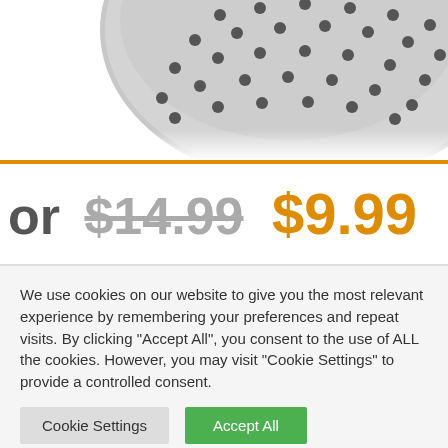[Figure (photo): Bottom view of a round gray perforated kitchen/shower item with many small holes, partially cropped at top]
or $14.99 $9.99
We use cookies on our website to give you the most relevant experience by remembering your preferences and repeat visits. By clicking “Accept All”, you consent to the use of ALL the cookies. However, you may visit "Cookie Settings" to provide a controlled consent.
Cookie Settings
Accept All